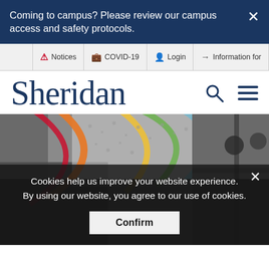Coming to campus? Please review our campus access and safety protocols.
Notices | COVID-19 | Login | Information for
Sheridan
[Figure (photo): Sheridan College website screenshot showing students sitting in a campus lounge area with colorful curved murals on the wall in the background. Cookie consent banner and campus notice banner are visible as overlays.]
Cookies help us improve your website experience. By using our website, you agree to our use of cookies.
Confirm